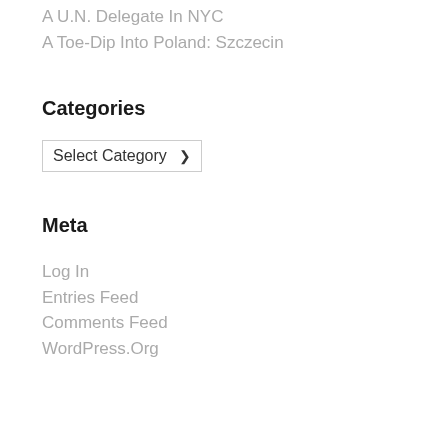A U.N. Delegate In NYC
A Toe-Dip Into Poland: Szczecin
Categories
[Figure (other): A dropdown selector labeled 'Select Category' with a chevron arrow]
Meta
Log In
Entries Feed
Comments Feed
WordPress.Org